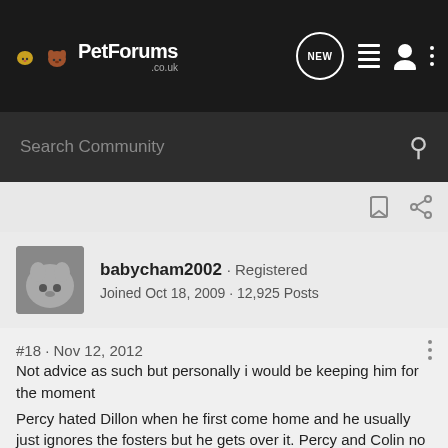PetForums .co.uk
Search Community
babycham2002 · Registered
Joined Oct 18, 2009 · 12,925 Posts
#18 · Nov 12, 2012
Not advice as such but personally i would be keeping him for the moment
Percy hated Dillon when he first come home and he usually just ignores the fosters but he gets over it. Percy and Colin no doubt have lovely lives their noses can be put out of joint for a couple of days until they get used to it

Whats happened to the second dog by the way ?